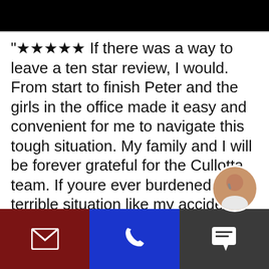[Figure (screenshot): Black top bar banner]
"★★★★★ If there was a way to leave a ten star review, I would. From start to finish Peter and the girls in the office made it easy and convenient for me to navigate this tough situation. My family and I will be forever grateful for the Cullotta team. If youre ever burdened with a terrible situation like my accident, do not hesitate to have Peter yo side!!!"
[Figure (infographic): Bottom navigation bar with dark red email icon section, blue phone icon section, and dark gray chat icon section with circular avatar photo overlay]